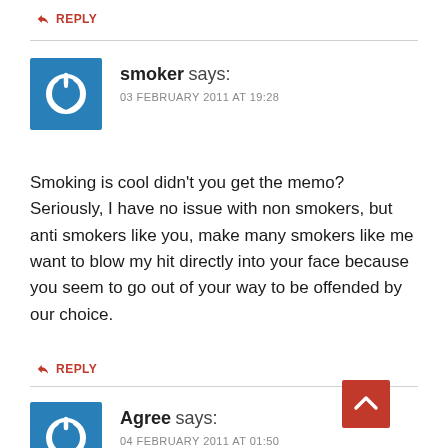↩ REPLY
smoker says:
03 FEBRUARY 2011 AT 19:28
Smoking is cool didn't you get the memo? Seriously, I have no issue with non smokers, but anti smokers like you, make many smokers like me want to blow my hit directly into your face because you seem to go out of your way to be offended by our choice.
↩ REPLY
Agree says:
04 FEBRUARY 2011 AT 01:50